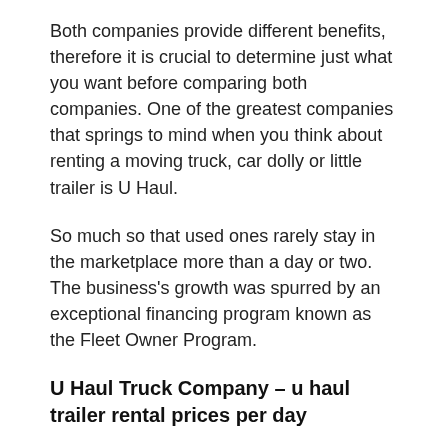Both companies provide different benefits, therefore it is crucial to determine just what you want before comparing both companies. One of the greatest companies that springs to mind when you think about renting a moving truck, car dolly or little trailer is U Haul.
So much so that used ones rarely stay in the marketplace more than a day or two. The business's growth was spurred by an exceptional financing program known as the Fleet Owner Program.
U Haul Truck Company – u haul trailer rental prices per day